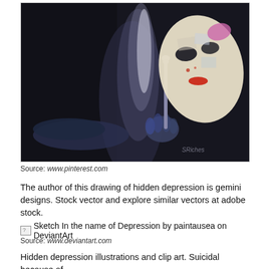[Figure (illustration): Dark oil painting of a figure holding up a decorative mask on a stick. The mask has a patchwork/collage appearance with red lips and eye cutouts. The figure's arm is rendered in dark blue tones against a near-black background. Artist signature 'SRiches' visible lower right.]
Source: www.pinterest.com
The author of this drawing of hidden depression is gemini designs. Stock vector and explore similar vectors at adobe stock.
[Figure (illustration): Broken image placeholder for: Sketch In the name of Depression by paintausea on DeviantArt]
Source: www.deviantart.com
Hidden depression illustrations and clip art. Suicidal because of